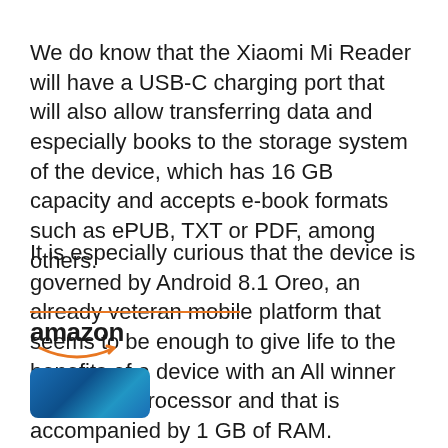We do know that the Xiaomi Mi Reader will have a USB-C charging port that will also allow transferring data and especially books to the storage system of the device, which has 16 GB capacity and accepts e-book formats such as ePUB, TXT or PDF, among others.
It is especially curious that the device is governed by Android 8.1 Oreo, an already veteran mobile platform that seems to be enough to give life to the benefits of a device with an All winner quad-core processor and that is accompanied by 1 GB of RAM.
[Figure (logo): Amazon logo with orange smile arrow beneath the text, preceded by an orange horizontal rule. Below it is a partial product image of a blue smartphone.]